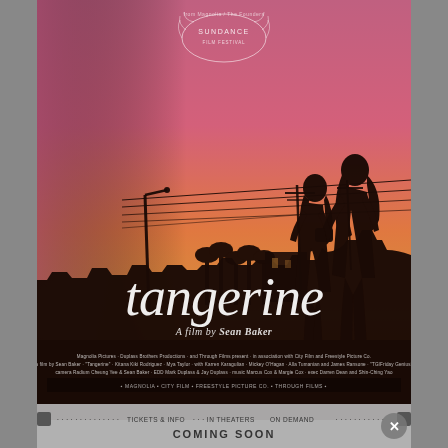[Figure (illustration): Movie poster for 'Tangerine' directed by Sean Baker. Warm sunset gradient background (pink-orange-amber) with dark silhouettes of two women walking on a Los Angeles street. Power lines, palm trees, utility poles visible as silhouettes. Sundance Film Festival laurel wreath logo at top center. Title 'tangerine' in large script font and 'A film by Sean Baker' subtitle below. Production credits in small text at bottom.]
COMING SOON